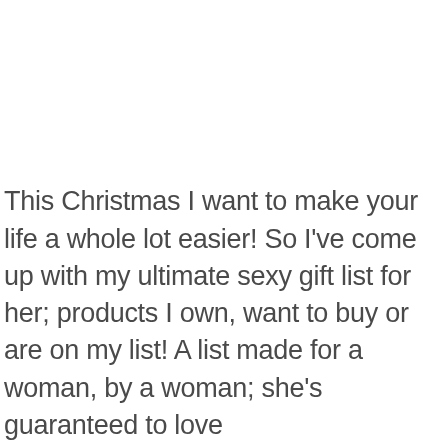This Christmas I want to make your life a whole lot easier! So I've come up with my ultimate sexy gift list for her; products I own, want to buy or are on my list! A list made for a woman, by a woman; she's guaranteed to love